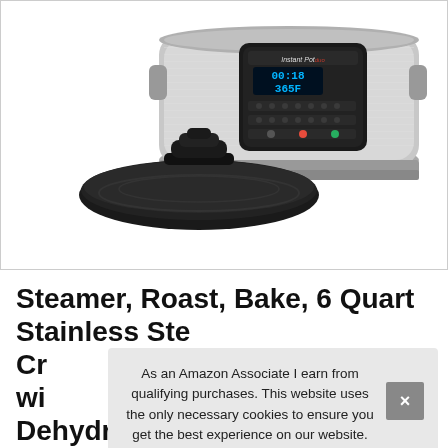[Figure (photo): Instant Pot Duo Crisp product photo showing stainless steel pressure cooker body with digital display showing 00:18 and 365F, and the air fryer lid placed in front]
Steamer, Roast, Bake, 6 Quart Stainless Ste... Cr... wi... Dehydrate, Slow Cook, Saute
As an Amazon Associate I earn from qualifying purchases. This website uses the only necessary cookies to ensure you get the best experience on our website. More information